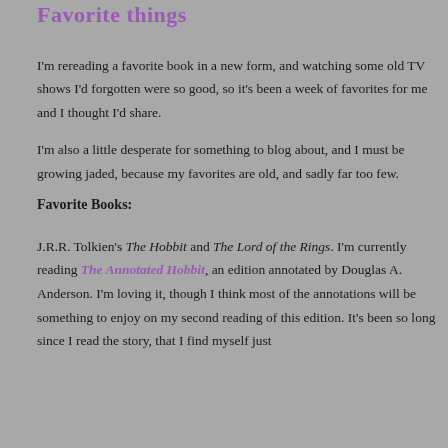Favorite things
I'm rereading a favorite book in a new form, and watching some old TV shows I'd forgotten were so good, so it's been a week of favorites for me and I thought I'd share.
I'm also a little desperate for something to blog about, and I must be growing jaded, because my favorites are old, and sadly far too few.
Favorite Books:
J.R.R. Tolkien's The Hobbit and The Lord of the Rings. I'm currently reading The Annotated Hobbit, an edition annotated by Douglas A. Anderson. I'm loving it, though I think most of the annotations will be something to enjoy on my second reading of this edition. It's been so long since I read the story, that I find myself just